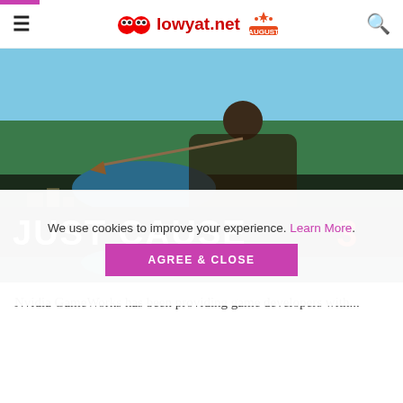lowyat.net
[Figure (screenshot): Just Cause 3 game promotional image showing the main character wielding a grappling hook with the game title 'JUST CAUSE 3' in large white text on a black banner across the image.]
Nvidia GameWorks has been providing game developers with...
We use cookies to improve your experience. Learn More.
AGREE & CLOSE